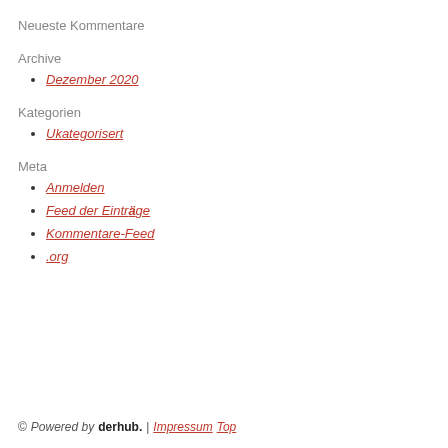Neueste Kommentare
Archive
Dezember 2020
Kategorien
Ukategorisert
Meta
Anmelden
Feed der Einträge
Kommentare-Feed
.org
© Powered by derhub. | Impressum  Top